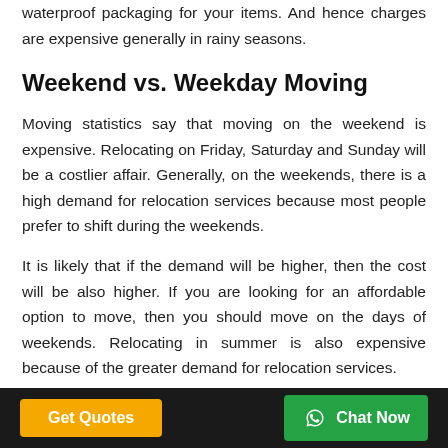waterproof packaging for your items. And hence charges are expensive generally in rainy seasons.
Weekend vs. Weekday Moving
Moving statistics say that moving on the weekend is expensive. Relocating on Friday, Saturday and Sunday will be a costlier affair. Generally, on the weekends, there is a high demand for relocation services because most people prefer to shift during the weekends.
It is likely that if the demand will be higher, then the cost will be also higher. If you are looking for an affordable option to move, then you should move on the days of weekends. Relocating in summer is also expensive because of the greater demand for relocation services.
Get Quotes   Chat Now